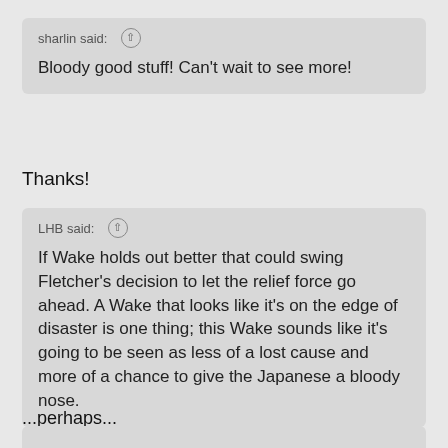sharlin said: [up arrow]
Bloody good stuff! Can't wait to see more!
Thanks!
LHB said: [up arrow]
If Wake holds out better that could swing Fletcher's decision to let the relief force go ahead. A Wake that looks like it's on the edge of disaster is one thing; this Wake sounds like it's going to be seen as less of a lost cause and more of a chance to give the Japanese a bloody nose.
...perhaps...